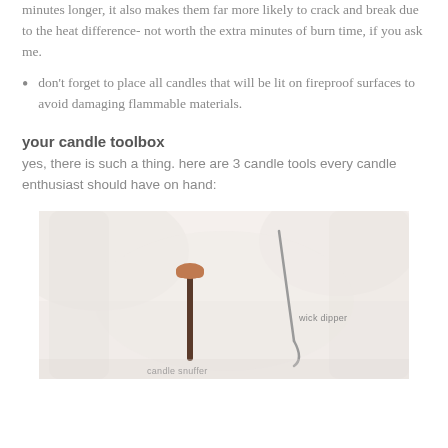minutes longer, it also makes them far more likely to crack and break due to the heat difference- not worth the extra minutes of burn time, if you ask me.
don't forget to place all candles that will be lit on fireproof surfaces to avoid damaging flammable materials.
your candle toolbox
yes, there is such a thing. here are 3 candle tools every candle enthusiast should have on hand:
[Figure (photo): Photo of candle tools on a light background: a candle snuffer and a wick dipper are labeled in the image.]